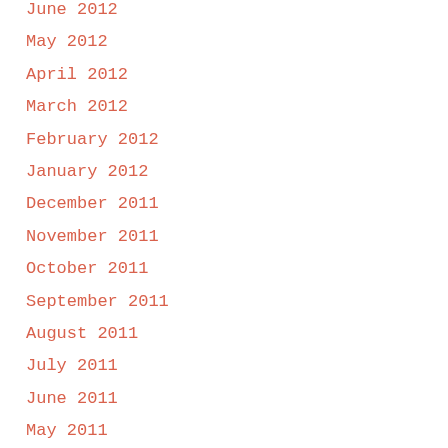June 2012
May 2012
April 2012
March 2012
February 2012
January 2012
December 2011
November 2011
October 2011
September 2011
August 2011
July 2011
June 2011
May 2011
April 2011
March 2011
February 2011